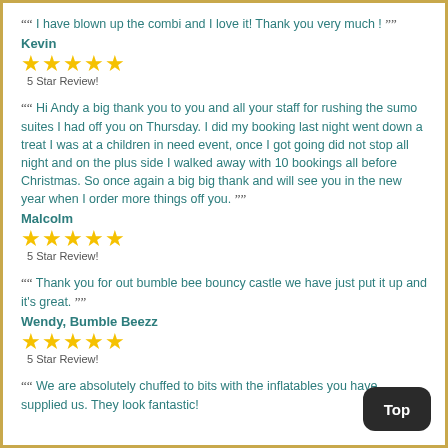" I have blown up the combi and I love it! Thank you very much ! "
Kevin
[Figure (other): 5 gold stars rating with label '5 Star Review!']
" Hi Andy a big thank you to you and all your staff for rushing the sumo suites I had off you on Thursday. I did my booking last night went down a treat I was at a children in need event, once I got going did not stop all night and on the plus side I walked away with 10 bookings all before Christmas. So once again a big big thank and will see you in the new year when I order more things off you. "
Malcolm
[Figure (other): 5 gold stars rating with label '5 Star Review!']
" Thank you for out bumble bee bouncy castle we have just put it up and it's great. "
Wendy, Bumble Beezz
[Figure (other): 5 gold stars rating with label '5 Star Review!']
" We are absolutely chuffed to bits with the inflatables you have supplied us. They look fantastic!